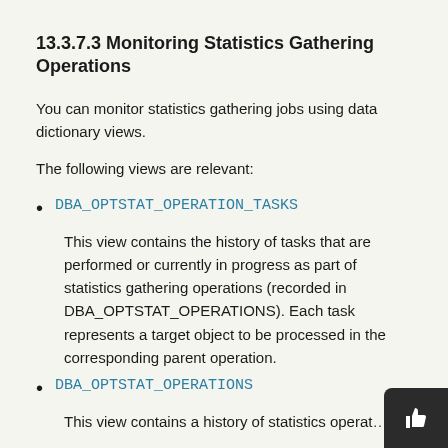13.3.7.3 Monitoring Statistics Gathering Operations
You can monitor statistics gathering jobs using data dictionary views.
The following views are relevant:
DBA_OPTSTAT_OPERATION_TASKS
This view contains the history of tasks that are performed or currently in progress as part of statistics gathering operations (recorded in DBA_OPTSTAT_OPERATIONS). Each task represents a target object to be processed in the corresponding parent operation.
DBA_OPTSTAT_OPERATIONS
This view contains a history of statistics operations performed at the table...